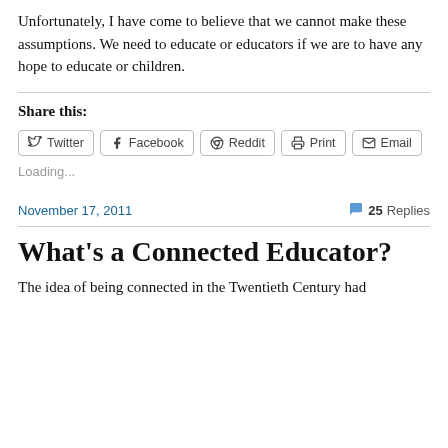Unfortunately, I have come to believe that we cannot make these assumptions. We need to educate or educators if we are to have any hope to educate or children.
Share this:
[Figure (other): Share buttons for Twitter, Facebook, Reddit, Print, and Email]
Loading...
November 17, 2011
25 Replies
What's a Connected Educator?
The idea of being connected in the Twentieth Century had